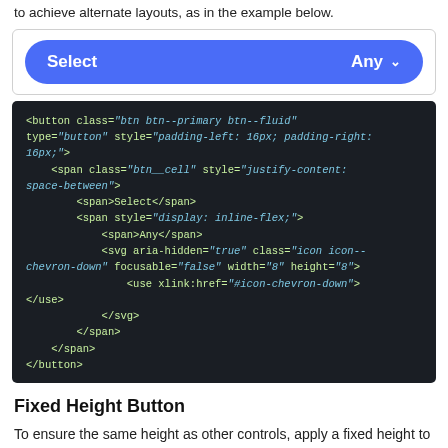to achieve alternate layouts, as in the example below.
[Figure (screenshot): A blue fluid pill-shaped button labeled 'Select' on the left and 'Any' with a chevron on the right, shown in a demo box with a light border.]
[Figure (screenshot): Dark code block showing HTML for a button with class 'btn btn--primary btn--fluid', containing nested spans and an SVG icon for chevron-down.]
Fixed Height Button
To ensure the same height as other controls, apply a fixed height to a button with btn--fixed-height or btn--large-fixed-height.